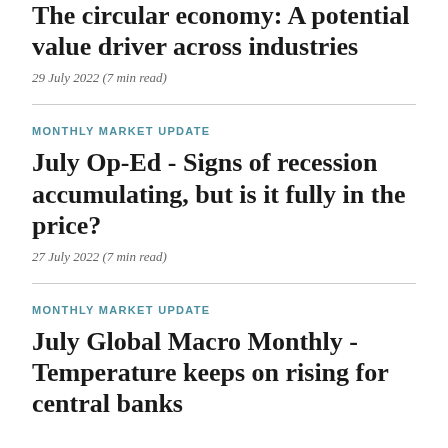The circular economy: A potential value driver across industries
29 July 2022 (7 min read)
MONTHLY MARKET UPDATE
July Op-Ed - Signs of recession accumulating, but is it fully in the price?
27 July 2022 (7 min read)
MONTHLY MARKET UPDATE
July Global Macro Monthly - Temperature keeps on rising for central banks